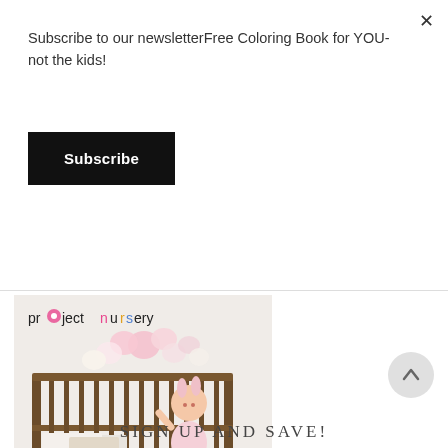Subscribe to our newsletterFree Coloring Book for YOU- not the kids!
Subscribe
[Figure (photo): Project Nursery advertisement showing a baby crib with a young girl standing in it, paper flower wall decor, 'project nursery' logo at top, pink 'SHOP NOW' button, and www.projectnursery.com URL at bottom]
SIGN UP AND SAVE!